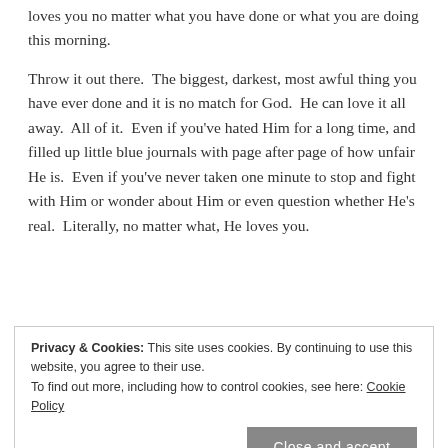loves you no matter what you have done or what you are doing this morning.
Throw it out there.  The biggest, darkest, most awful thing you have ever done and it is no match for God.  He can love it all away.  All of it.  Even if you've hated Him for a long time, and filled up little blue journals with page after page of how unfair He is.  Even if you've never taken one minute to stop and fight with Him or wonder about Him or even question whether He's real.  Literally, no matter what, He loves you.
Privacy & Cookies: This site uses cookies. By continuing to use this website, you agree to their use.
To find out more, including how to control cookies, see here: Cookie Policy
Close and accept
moment you enter into a real relationship with God